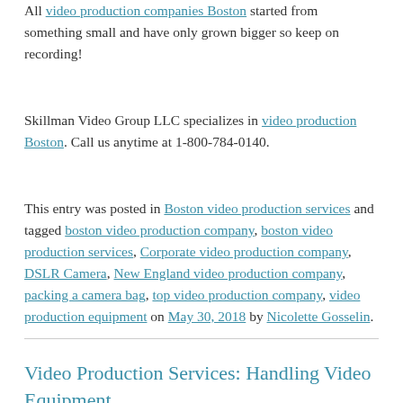All video production companies Boston started from something small and have only grown bigger so keep on recording!
Skillman Video Group LLC specializes in video production Boston. Call us anytime at 1-800-784-0140.
This entry was posted in Boston video production services and tagged boston video production company, boston video production services, Corporate video production company, DSLR Camera, New England video production company, packing a camera bag, top video production company, video production equipment on May 30, 2018 by Nicolette Gosselin.
Video Production Services: Handling Video Equipment